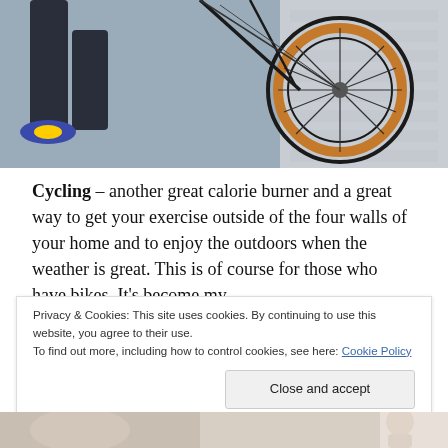[Figure (photo): Person on a bicycle, showing legs in dark leggings and colorful sneakers, with a bicycle wheel with brown/tan tires visible, parked against a wall in an urban setting]
Cycling – another great calorie burner and a great way to get your exercise outside of the four walls of your home and to enjoy the outdoors when the weather is great. This is of course for those who have bikes. It's become my
Privacy & Cookies: This site uses cookies. By continuing to use this website, you agree to their use.
To find out more, including how to control cookies, see here: Cookie Policy
[Figure (photo): Partial photo at bottom of page, appears to show a person]